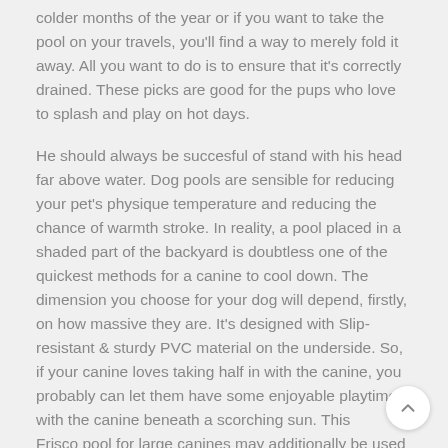colder months of the year or if you want to take the pool on your travels, you'll find a way to merely fold it away. All you want to do is to ensure that it's correctly drained. These picks are good for the pups who love to splash and play on hot days.
He should always be succesful of stand with his head far above water. Dog pools are sensible for reducing your pet's physique temperature and reducing the chance of warmth stroke. In reality, a pool placed in a shaded part of the backyard is doubtless one of the quickest methods for a canine to cool down. The dimension you choose for your dog will depend, firstly, on how massive they are. It's designed with Slip-resistant & sturdy PVC material on the underside. So, if your canine loves taking half in with the canine, you probably can let them have some enjoyable playtime with the canine beneath a scorching sun. This Frisco pool for large canines may additionally be used to